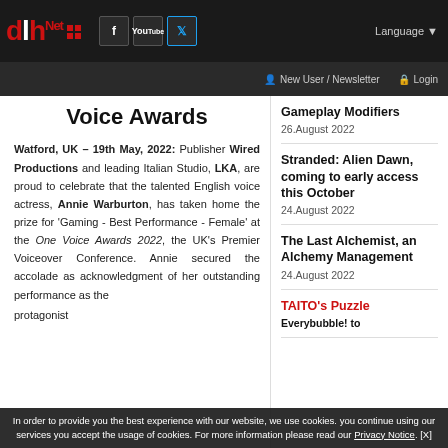dlh.Net — Language | New User / Newsletter | Login
Voice Awards
Watford, UK – 19th May, 2022: Publisher Wired Productions and leading Italian Studio, LKA, are proud to celebrate that the talented English voice actress, Annie Warburton, has taken home the prize for 'Gaming - Best Performance - Female' at the One Voice Awards 2022, the UK's Premier Voiceover Conference. Annie secured the accolade as acknowledgment of her outstanding performance as the protagonist
Gameplay Modifiers
26.August 2022
Stranded: Alien Dawn, coming to early access this October
24.August 2022
The Last Alchemist, an Alchemy Management
24.August 2022
TAITO's Puzzle
Everybubble! to
In order to provide you the best experience with our website, we use cookies. you continue using our services you accept the usage of cookies. For more information please read our Privacy Notice. [X]